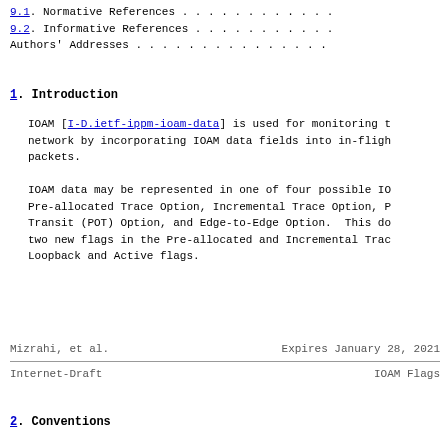9.1. Normative References . . . . . . . . . . . .
9.2. Informative References . . . . . . . . . . .
Authors' Addresses . . . . . . . . . . . . . . .
1.  Introduction
IOAM [I-D.ietf-ippm-ioam-data] is used for monitoring t network by incorporating IOAM data fields into in-fligh packets.
IOAM data may be represented in one of four possible IO Pre-allocated Trace Option, Incremental Trace Option, P Transit (POT) Option, and Edge-to-Edge Option.  This do two new flags in the Pre-allocated and Incremental Trac Loopback and Active flags.
Mizrahi, et al.        Expires January 28, 2021
Internet-Draft                      IOAM Flags
2.  Conventions